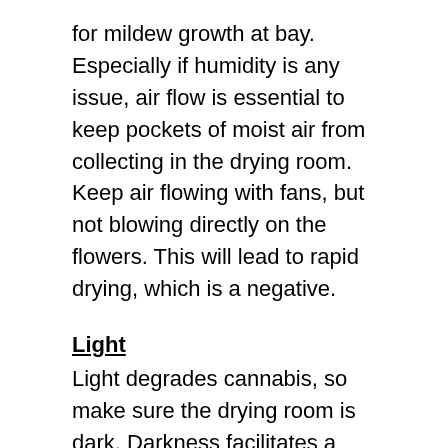for mildew growth at bay. Especially if humidity is any issue, air flow is essential to keep pockets of moist air from collecting in the drying room. Keep air flowing with fans, but not blowing directly on the flowers. This will lead to rapid drying, which is a negative.
Light
Light degrades cannabis, so make sure the drying room is dark. Darkness facilitates a positive environment for the right chemical reactions to take place in the flowers, without excessive degradation.